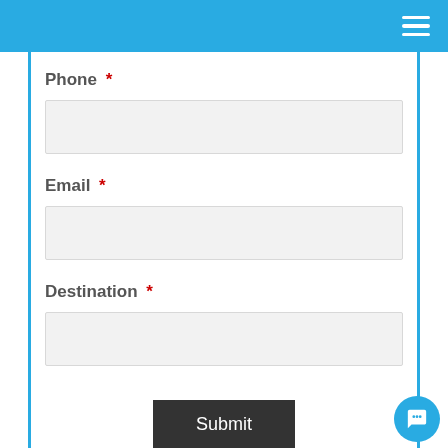Phone *
Email *
Destination *
Submit